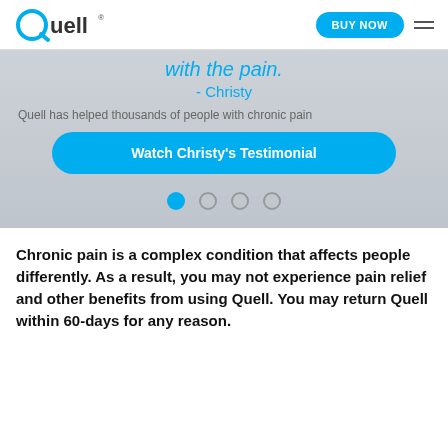Quell | BUY NOW
with the pain. - Christy
Quell has helped thousands of people with chronic pain
Watch Christy's Testimonial
Chronic pain is a complex condition that affects people differently. As a result, you may not experience pain relief and other benefits from using Quell. You may return Quell within 60-days for any reason.